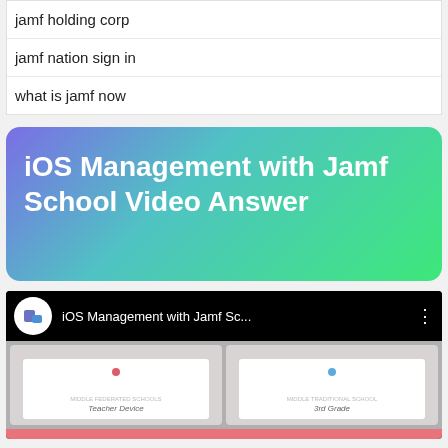jamf holding corp
jamf nation sign in
what is jamf now
iOS Management with Jamf School Video Answer
[Figure (screenshot): YouTube video card showing 'iOS Management with Jamf Sc...' with channel icon and video thumbnails labeled 'Teacher Device' and '3rd Grade']